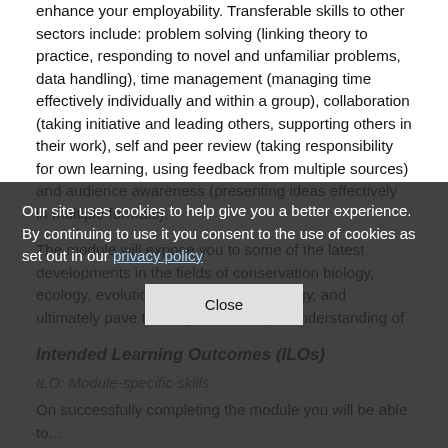enhance your employability. Transferable skills to other sectors include: problem solving (linking theory to practice, responding to novel and unfamiliar problems, data handling), time management (managing time effectively individually and within a group), collaboration (taking initiative and leading others, supporting others in their work), self and peer review (taking responsibility for own learning, using feedback from multiple sources) and audience awareness (presenting ideas effectively in multiple formats).
The module will expose you to some of the latest developments in the fields of conservation biology, ecology, evolution or behavioural ecology, and ultimately pave the way into a deeper understanding of
Intended Learning Outcomes (ILOs)
ILO: Module-specific skills
On successfully completing the module you will be able to...
1. Undertake critical and self-motivated exploration of topics of relevance to your research community and/or governmental/non-governmental organisations, which qualify